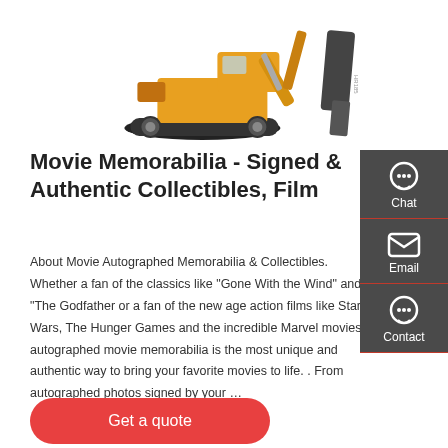[Figure (photo): Yellow excavator with hydraulic hammer attachment on white background]
Movie Memorabilia - Signed & Authentic Collectibles, Film
About Movie Autographed Memorabilia & Collectibles. Whether a fan of the classics like "Gone With the Wind" and "The Godfather or a fan of the new age action films like Star Wars, The Hunger Games and the incredible Marvel movies, autographed movie memorabilia is the most unique and authentic way to bring your favorite movies to life. . From autographed photos signed by your …
[Figure (infographic): Right sidebar with chat, email, and contact icons on dark grey background]
Get a quote